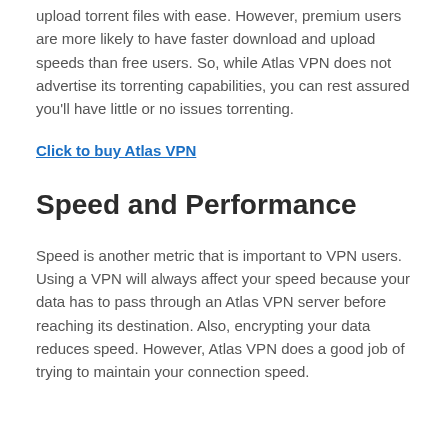upload torrent files with ease. However, premium users are more likely to have faster download and upload speeds than free users. So, while Atlas VPN does not advertise its torrenting capabilities, you can rest assured you'll have little or no issues torrenting.
Click to buy Atlas VPN
Speed and Performance
Speed is another metric that is important to VPN users. Using a VPN will always affect your speed because your data has to pass through an Atlas VPN server before reaching its destination. Also, encrypting your data reduces speed. However, Atlas VPN does a good job of trying to maintain your connection speed.